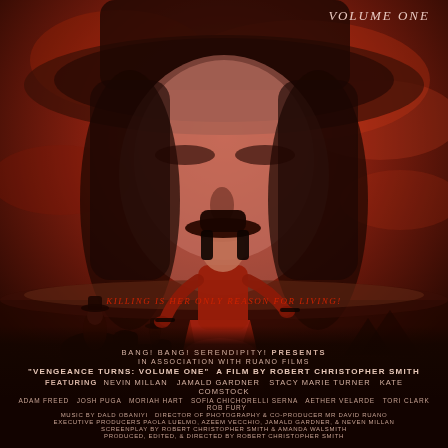[Figure (illustration): Movie poster for 'Vengeance Turns: Volume One'. A dramatic western-themed illustration in sepia/red tones featuring a large ghostly face of a woman wearing a wide-brim cowboy hat at the top. In the foreground, the same woman stands in a red dress and black boots facing away, holding guns, with horseback riders in the background left. Dramatic stormy sky in reds and browns.]
VOLUME ONE
Killing is her only reason for living!
BANG! BANG! SERENDIPITY! PRESENTS
IN ASSOCIATION WITH Ruano Films
"Vengeance Turns: Volume One" A FILM BY ROBERT CHRISTOPHER SMITH
FEATURING  Nevin Millan   Jamald Gardner   Stacy Marie Turner   Kate Comstock
Adam Freed   Josh Puga   Moriah Hart   Sofia Chichorelli Serna   Aether Velarde   Tori Clark   Rob Fury
MUSIC BY Dald Obaniyi  Director of Photography & CO-PRODUCER Mr David Ruano
EXECUTIVE PRODUCERS Paola Luelmo, Azeem Vecchio, Jamald Gardner, & Neven Millan
SCREENPLAY BY Robert Christopher Smith & Amanda Walsmith
PRODUCED, EDITED, & DIRECTED BY Robert Christopher Smith